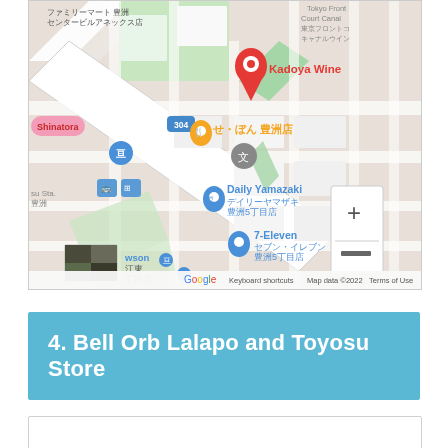[Figure (map): Google Maps screenshot showing Toyosu area in Tokyo, Japan. Features a red pin marker for 'Kadoya Wine', orange marker for 'せ・ぼん 豊洲店', blue markers for 'Daily Yamazaki デイリーヤマザキ 豊洲5丁目店', '7-Eleven セブン・イレブン 豊洲5丁目店', and other local landmarks. Also shows Shinatora, su Sta. 豊洲, route 304. Zoom controls (+/-) visible on right. Bottom bar shows 'Google', 'Keyboard shortcuts', 'Map data ©2022', 'Terms of Use'. Small satellite thumbnail in bottom-left.]
4. Bell Orb Lalapo and Toyosu Store